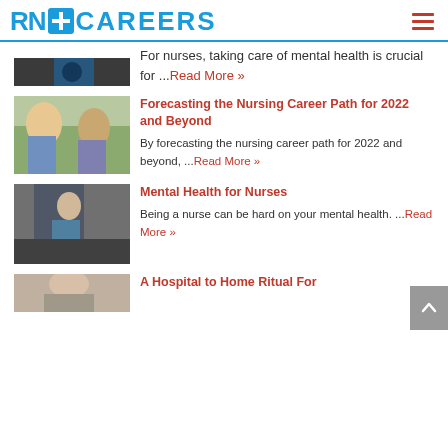RN+ CAREERS
For nurses, taking care of mental health is crucial for ...Read More »
Forecasting the Nursing Career Path for 2022 and Beyond
By forecasting the nursing career path for 2022 and beyond, ...Read More »
Mental Health for Nurses
Being a nurse can be hard on your mental health. ...Read More »
A Hospital to Home Ritual For